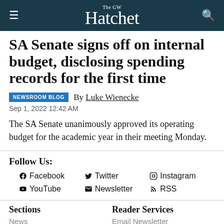The GW Hatchet
SA Senate signs off on internal budget, disclosing spending records for the first time
NEWSROOM BLOG  By Luke Wienecke
Sep 1, 2022 12:42 AM
The SA Senate unanimously approved its operating budget for the academic year in their meeting Monday.
Follow Us: Facebook Twitter Instagram YouTube Newsletter RSS
Sections: News, Opinions | Reader Services: Email Newsletter, Browse Archives